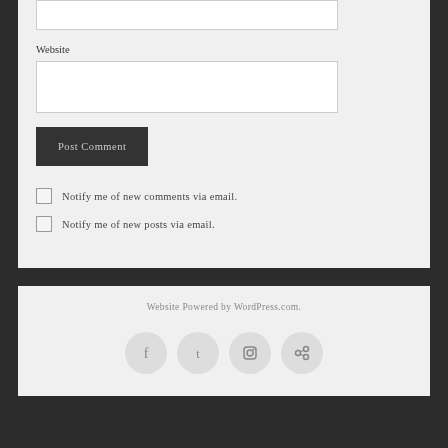Website
Post Comment
Notify me of new comments via email.
Notify me of new posts via email.
Website Powered by WordPress.com.
[Figure (other): Social media icons: Facebook, Twitter, Instagram, and a link/share icon arranged in a row of circular buttons]